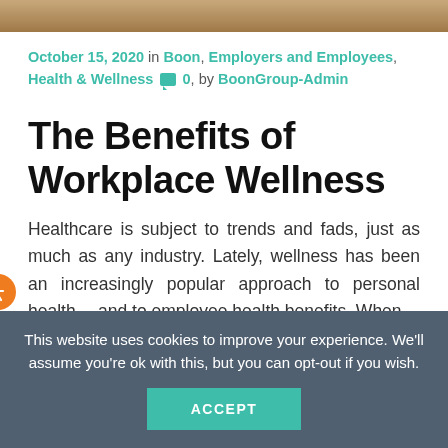[Figure (photo): Top partial image strip, brown/tan colored]
October 15, 2020 in Boon, Employers and Employees, Health & Wellness  0,  by BoonGroup-Admin
The Benefits of Workplace Wellness
Healthcare is subject to trends and fads, just as much as any industry. Lately, wellness has been an increasingly popular approach to personal health… and to employee health benefits. When…
READ MORE >
This website uses cookies to improve your experience. We'll assume you're ok with this, but you can opt-out if you wish.
ACCEPT